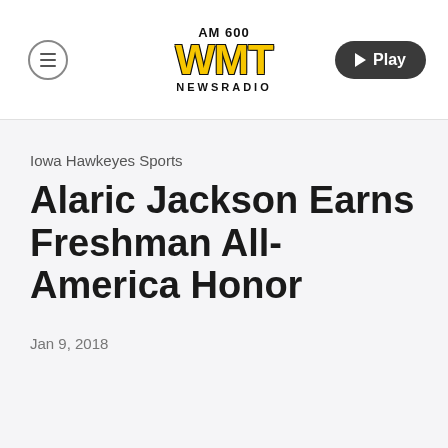[Figure (logo): AM 600 WMT Newsradio logo with yellow WMT text and black borders]
Iowa Hawkeyes Sports
Alaric Jackson Earns Freshman All-America Honor
Jan 9, 2018